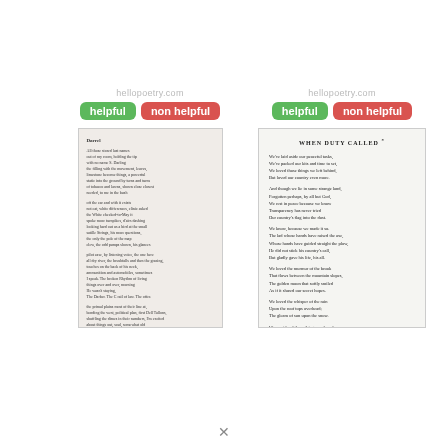hellopoetry.com
helpful | non helpful
[Figure (photo): Scanned page of a poem titled 'Darrel' with multiple stanzas of small printed text]
hellopoetry.com
helpful | non helpful
[Figure (photo): Scanned page of a poem titled 'WHEN DUTY CALLED' with multiple stanzas about duty, sacrifice, and love of country]
x